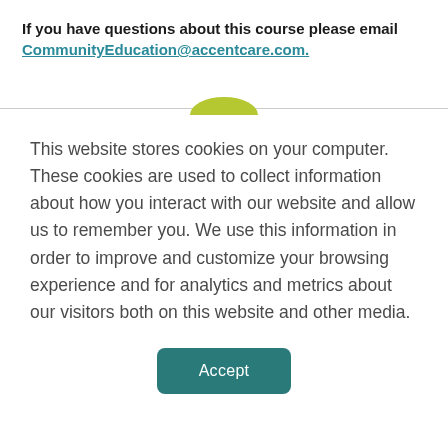If you have questions about this course please email CommunityEducation@accentcare.com.
This website stores cookies on your computer. These cookies are used to collect information about how you interact with our website and allow us to remember you. We use this information in order to improve and customize your browsing experience and for analytics and metrics about our visitors both on this website and other media.
Accept